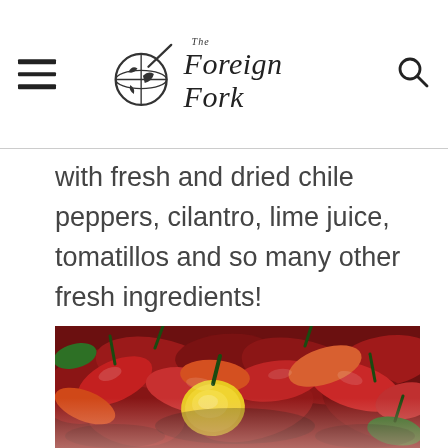The Foreign Fork
with fresh and dried chile peppers, cilantro, lime juice, tomatillos and so many other fresh ingredients!
[Figure (photo): Close-up photo of a large pile of mixed chile peppers in various colors including red, orange, yellow, and green, with stems visible.]